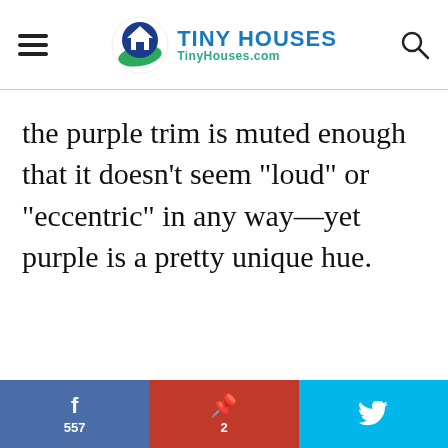TINY HOUSES TinyHouses.com
the purple trim is muted enough that it doesn’t seem “loud” or “eccentric” in any way—yet purple is a pretty unique hue.
f 557 | P 2 | (Twitter bird)